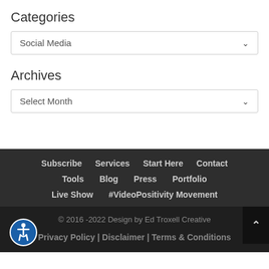Categories
Social Media
Archives
Select Month
Subscribe   Services   Start Here   Contact   Tools   Blog   Press   Portfolio   Live Show   #VideoPositivity Movement
© 2016 -2022 Design by Ed Troxell Creative   Privacy Policy | Disclaimer | Terms & Conditions